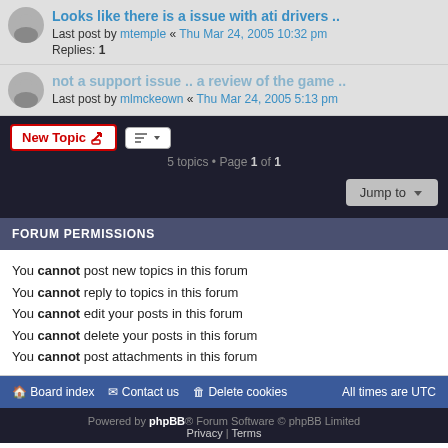Looks like there is a issue with ati drivers .. Last post by mtemple « Thu Mar 24, 2005 10:32 pm Replies: 1
not a support issue .. a review of the game .. Last post by mlmckeown « Thu Mar 24, 2005 5:13 pm
5 topics • Page 1 of 1
You cannot post new topics in this forum
You cannot reply to topics in this forum
You cannot edit your posts in this forum
You cannot delete your posts in this forum
You cannot post attachments in this forum
Board index | Contact us | Delete cookies | All times are UTC
Powered by phpBB® Forum Software © phpBB Limited Privacy | Terms